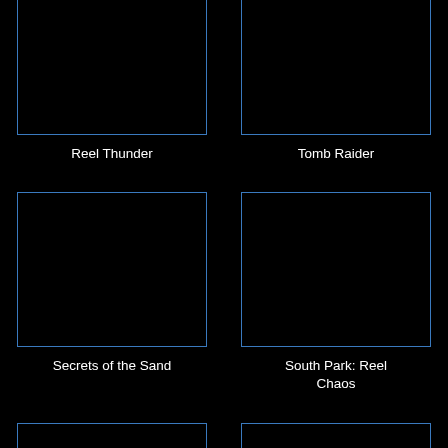[Figure (other): Black thumbnail image with blue border for Reel Thunder game]
Reel Thunder
[Figure (other): Black thumbnail image with blue border for Tomb Raider game]
Tomb Raider
[Figure (other): Black thumbnail image with blue border for Secrets of the Sand game]
Secrets of the Sand
[Figure (other): Black thumbnail image with blue border for South Park: Reel Chaos game]
South Park: Reel Chaos
[Figure (other): Black thumbnail image with blue border, partially visible at bottom]
[Figure (other): Black thumbnail image with blue border, partially visible at bottom right]